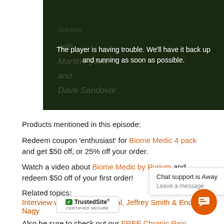[Figure (screenshot): Video player showing error message: 'The player is having trouble. We'll have it back up and running as soon as possible.' with dark green background showing product bottles]
Products mentioned in this episode:
Redeem coupon 'enthusiast' for Biome Medic 4 pack and get $50 off, or 25% off your order.
Watch a video about Biome Medic by Purium and redeem $50 off of your first order!
Related topics:
Interview with David Sandoval, Jeffrey Smith & Endre Nagy
Also be sure to check out our FREE Chronic Pain Manifesto!
You can watch this podcast episode as a video, listen to